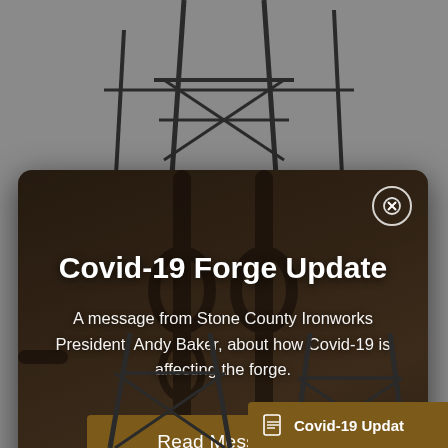[Figure (screenshot): Website screenshot showing a modal popup overlay on a product page for Stone County Ironworks. The background shows a gray page with iron furniture silhouettes. The modal has a dark ironworks forge photo background with white text and a brown call-to-action button.]
Covid-19 Forge Update
A message from Stone County Ironworks President, Andy Baker, about how Covid-19 is affecting the forge.
Read Message
Covid-19 Updat